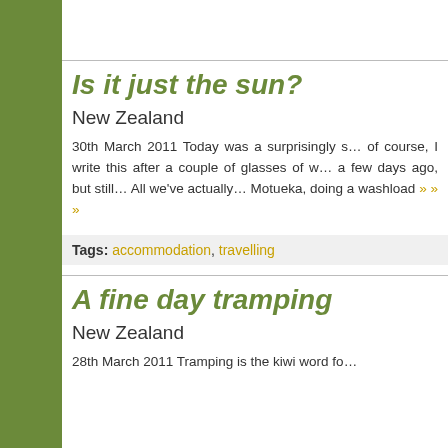Is it just the sun?
New Zealand
30th March 2011 Today was a surprisingly s… course, I write this after a couple of glasses of w… a few days ago, but still… All we've actually… Motueka, doing a washload » » »
Tags: accommodation, travelling
A fine day tramping
New Zealand
28th March 2011 Tramping is the kiwi word fo…